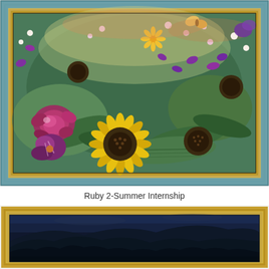[Figure (photo): Framed artwork of pressed dried flowers including sunflowers, roses, and various wildflowers arranged behind glass in an ornate gold and teal/blue frame. The flowers are yellow, purple, and white against a green background.]
Ruby 2-Summer Internship
[Figure (photo): Framed artwork in an ornate gold frame showing a dark blue mountainous landscape with silhouetted mountain ridges against a dark blue sky, appearing to be a cyanotype or blue-toned photograph or print.]